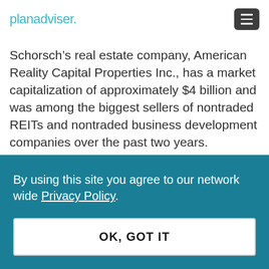planadviser.
Schorsch’s real estate company, American Reality Capital Properties Inc., has a market capitalization of approximately $4 billion and was among the biggest sellers of nontraded REITs and nontraded business development companies over the past two years.
By using this site you agree to our network wide Privacy Policy.
OK, GOT IT